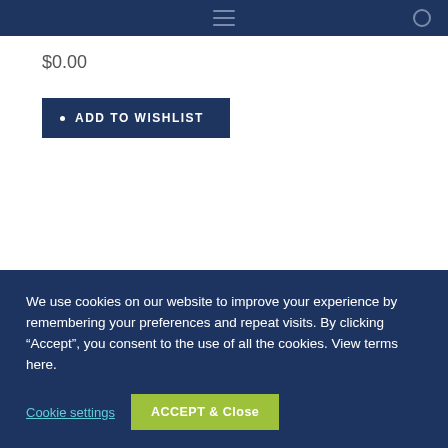$0.00
ADD TO WISHLIST
We use cookies on our website to improve your experience by remembering your preferences and repeat visits. By clicking “Accept”, you consent to the use of all the cookies. View terms here.
Cookie settings
ACCEPT & Close